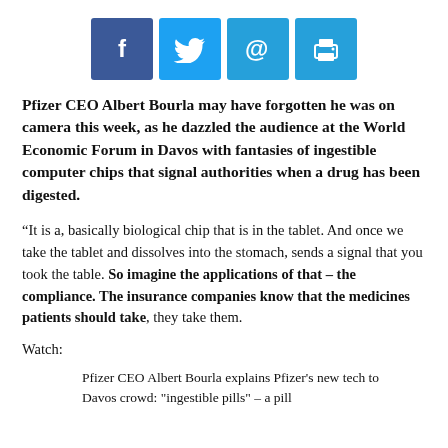[Figure (infographic): Social sharing buttons: Facebook (blue), Twitter (light blue), Email (light blue with @), Print (light blue with printer icon)]
Pfizer CEO Albert Bourla may have forgotten he was on camera this week, as he dazzled the audience at the World Economic Forum in Davos with fantasies of ingestible computer chips that signal authorities when a drug has been digested.
“It is a, basically biological chip that is in the tablet. And once we take the tablet and dissolves into the stomach, sends a signal that you took the table. So imagine the applications of that – the compliance. The insurance companies know that the medicines patients should take, they take them.
Watch:
Pfizer CEO Albert Bourla explains Pfizer's new tech to Davos crowd: "ingestible pills" – a pill